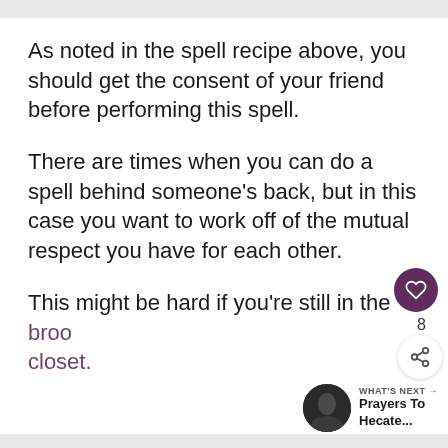As noted in the spell recipe above, you should get the consent of your friend before performing this spell.
There are times when you can do a spell behind someone’s back, but in this case you want to work off of the mutual respect you have for each other.
This might be hard if you’re still in the broo[m] closet.